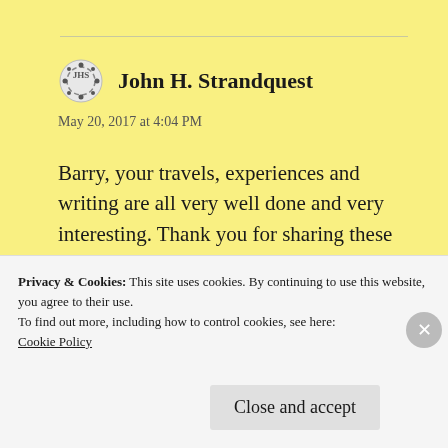John H. Strandquest
May 20, 2017 at 4:04 PM
Barry, your travels, experiences and writing are all very well done and very interesting. Thank you for sharing these with your audience of readers and viewers. Keep visiting these amazing parts of our world and sharing. Thank you!
Privacy & Cookies: This site uses cookies. By continuing to use this website, you agree to their use.
To find out more, including how to control cookies, see here:
Cookie Policy
Close and accept